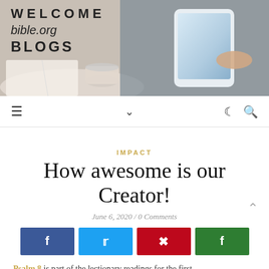[Figure (photo): Header banner image showing a person holding a tablet and a cup of coffee, with text overlay: WELCOME bible.org BLOGS]
WELCOME bible.org BLOGS
Navigation bar with hamburger menu, chevron, moon icon, and search icon
IMPACT
How awesome is our Creator!
June 6, 2020 / 0 Comments
[Figure (infographic): Social share buttons: Facebook (dark blue), Twitter (light blue), Pinterest (red), Google+ (green)]
Psalm 8 is part of the lectionary readings for the first th